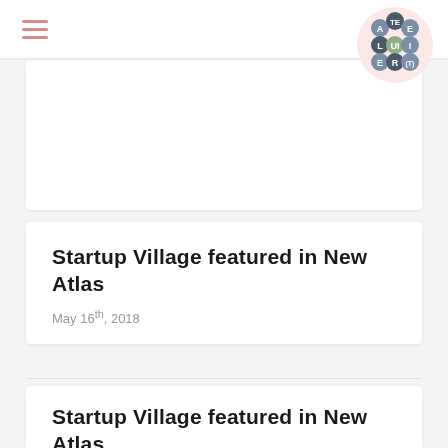[Figure (logo): Atelier(t) logo — circular pink background with flower-shaped arrangement of letter tiles spelling A, T, E, L, U, I, E, R, (T) in dark blue-grey hexagonal/circular badges]
Startup Village featured in New Atlas
May 16th, 2018
Startup Village featured in New Atlas